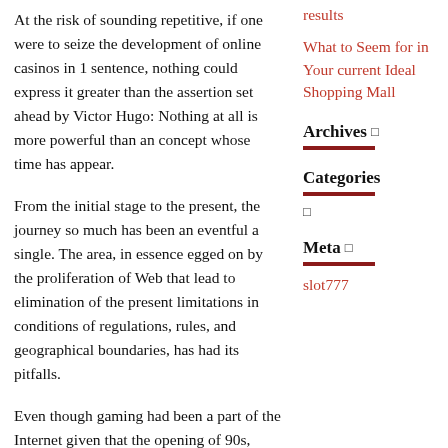At the risk of sounding repetitive, if one were to seize the development of online casinos in 1 sentence, nothing could express it greater than the assertion set ahead by Victor Hugo: Nothing at all is more powerful than an concept whose time has appear.
From the initial stage to the present, the journey so much has been an eventful a single. The area, in essence egged on by the proliferation of Web that lead to elimination of the present limitations in conditions of regulations, rules, and geographical boundaries, has had its pitfalls.
Even though gaming had been a part of the Internet given that the opening of 90s, formally, the initial on-line casino opened in 1996. This was produced achievable by a legislation handed by Antigua and Barbados in 1994, enabling them to issue gambling licenses. This growth is important because
results
What to Seem for in Your current Ideal Shopping Mall
Archives
Categories
Meta
slot777